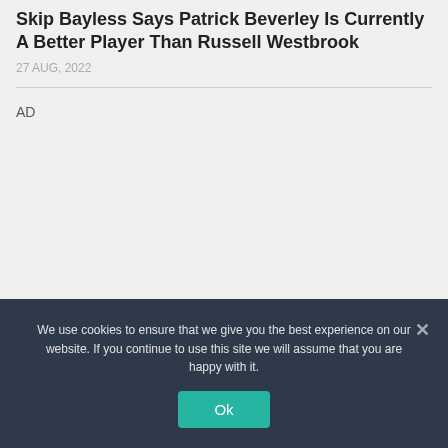Skip Bayless Says Patrick Beverley Is Currently A Better Player Than Russell Westbrook
27 AUG, 2022
AD
We use cookies to ensure that we give you the best experience on our website. If you continue to use this site we will assume that you are happy with it.